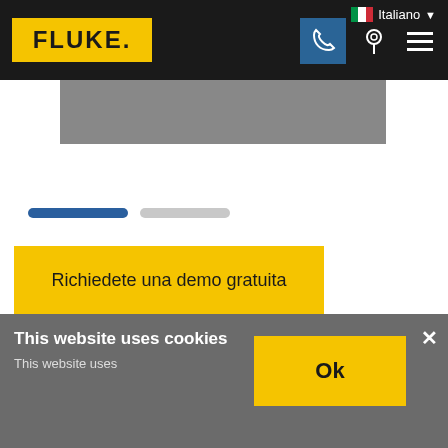Fluke website header navigation bar with logo, phone, location, and menu icons; language selector showing Italiano
[Figure (screenshot): Partial product image placeholder (gray rectangle) below the navigation bar]
[Figure (other): Carousel indicator pills: one active blue pill and one inactive gray pill]
Richiedete una demo gratuita
Acquista ora
This website uses cookies
This website uses
Ok